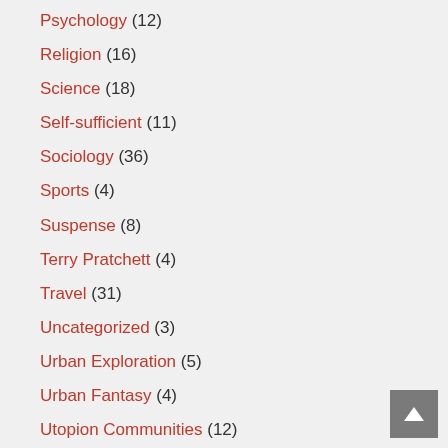Psychology (12)
Religion (16)
Science (18)
Self-sufficient (11)
Sociology (36)
Sports (4)
Suspense (8)
Terry Pratchett (4)
Travel (31)
Uncategorized (3)
Urban Exploration (5)
Urban Fantasy (4)
Utopion Communities (12)